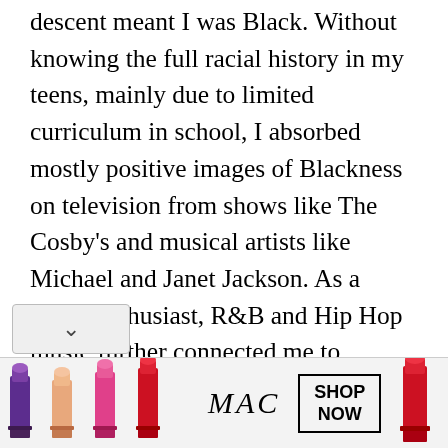descent meant I was Black. Without knowing the full racial history in my teens, mainly due to limited curriculum in school, I absorbed mostly positive images of Blackness on television from shows like The Cosby's and musical artists like Michael and Janet Jackson. As a dance enthusiast, R&B and Hip Hop music further connected me to Blackness in America.

As I got older, and by my mid twenties, my exploration of Blackness uncovered the ils of the dark history of slavery, Jim
[Figure (illustration): Advertisement banner for MAC cosmetics showing lipsticks in purple, pink, and red colors with MAC logo in italic script and a 'SHOP NOW' button in a black border box.]